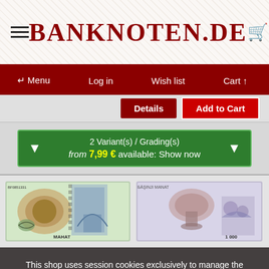BANKNOTEN.DE
Menu  Log in  Wish list  Cart
Details  Add to Cart
2 Variant(s) / Grading(s)
from 7,99 € available: Show now
[Figure (photo): Two banknotes shown side by side — front and back of a Turkmenistan banknote]
This shop uses session cookies exclusively to manage the shopping cart and login status. Session cookies must be allowed to place an order. We do not use any form of tracking cookies. OK. Do not show this notice again.